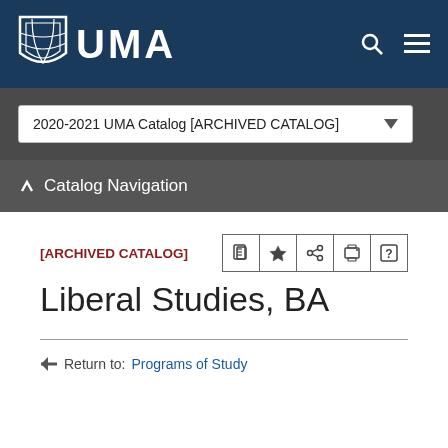UMA
2020-2021 UMA Catalog [ARCHIVED CATALOG]
Catalog Navigation
[ARCHIVED CATALOG]
Liberal Studies, BA
Return to: Programs of Study